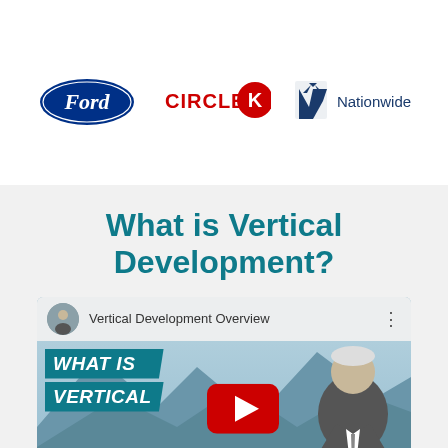[Figure (logo): Ford oval blue logo]
[Figure (logo): Circle K red and white logo]
[Figure (logo): Nationwide eagle and text logo]
What is Vertical Development?
[Figure (screenshot): YouTube video thumbnail titled 'Vertical Development Overview' showing a man in a suit with text overlay 'WHAT IS VERTICAL DEVELOPMENT?' and a YouTube play button]